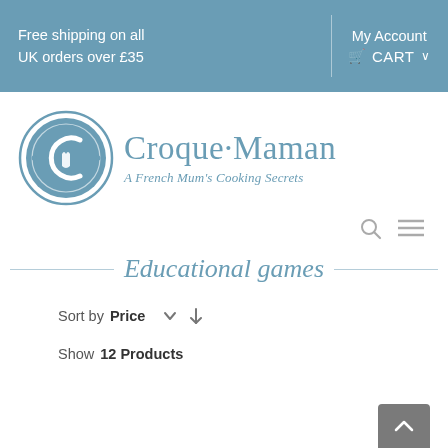Free shipping on all UK orders over £35
My Account
CART
[Figure (logo): Croque-Maman logo: circular emblem with stylized CM monogram in white on teal background, beside the text 'Croque-Maman' and tagline 'A French Mum's Cooking Secrets' in teal.]
Educational games
Sort by Price
Show 12 Products